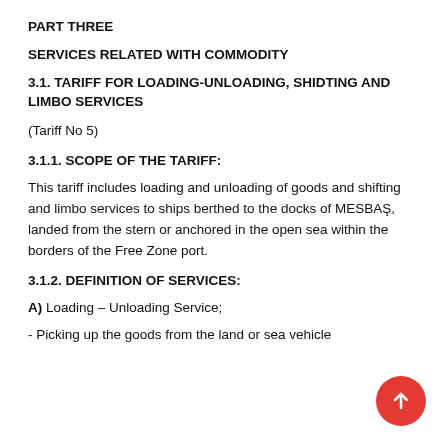PART THREE
SERVICES RELATED WITH COMMODITY
3.1. TARIFF FOR LOADING-UNLOADING, SHIDTING AND LIMBO SERVICES
(Tariff No 5)
3.1.1. SCOPE OF THE TARIFF:
This tariff includes loading and unloading of goods and shifting and limbo services to ships berthed to the docks of MESBAŞ, landed from the stern or anchored in the open sea within the borders of the Free Zone port.
3.1.2. DEFINITION OF SERVICES:
A) Loading – Unloading Service;
- Picking up the goods from the land or sea vehicle